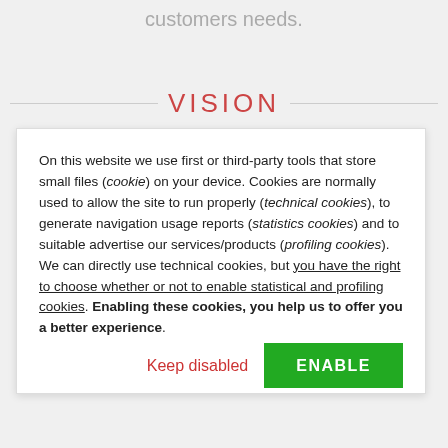customers needs.
VISION
On this website we use first or third-party tools that store small files (cookie) on your device. Cookies are normally used to allow the site to run properly (technical cookies), to generate navigation usage reports (statistics cookies) and to suitable advertise our services/products (profiling cookies). We can directly use technical cookies, but you have the right to choose whether or not to enable statistical and profiling cookies. Enabling these cookies, you help us to offer you a better experience.
Keep disabled
ENABLE